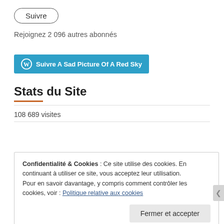[Figure (other): Suivre button with rounded border]
Rejoignez 2 096 autres abonnés
[Figure (other): WordPress Follow button: Suivre A Sad Picture Of A Red Sky]
Stats du Site
108 689 visites
Confidentialité & Cookies : Ce site utilise des cookies. En continuant à utiliser ce site, vous acceptez leur utilisation.
Pour en savoir davantage, y compris comment contrôler les cookies, voir : Politique relative aux cookies
Fermer et accepter